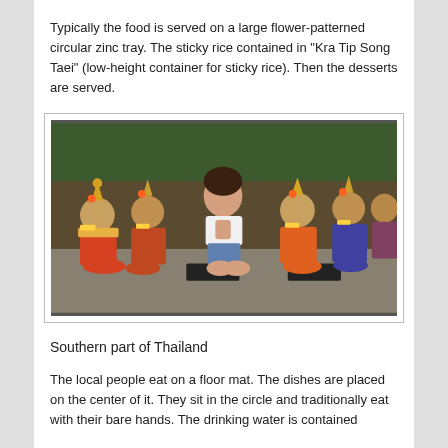Typically the food is served on a large flower-patterned circular zinc tray. The sticky rice contained in "Kra Tip Song Taei" (low-height container for sticky rice). Then the desserts are served.
[Figure (photo): A young woman in casual clothes kneeling with hands in prayer pose, surrounded by several Thai classical dancers in traditional ornate costumes with golden headdresses, seated on the ground outdoors.]
Southern part of Thailand
The local people eat on a floor mat. The dishes are placed on the center of it. They sit in the circle and traditionally eat with their bare hands. The drinking water is contained